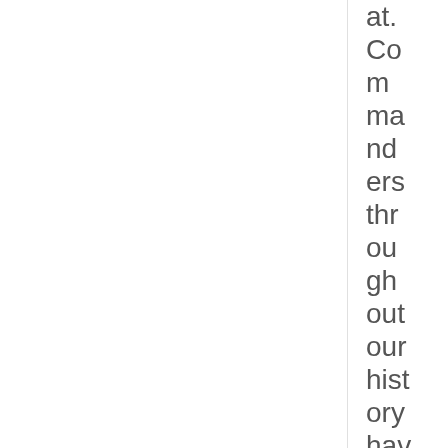at. Commanders throughout our history have gone against